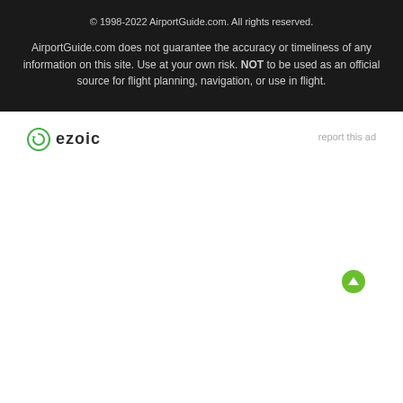© 1998-2022 AirportGuide.com. All rights reserved.
AirportGuide.com does not guarantee the accuracy or timeliness of any information on this site. Use at your own risk. NOT to be used as an official source for flight planning, navigation, or use in flight.
[Figure (logo): Ezoic logo with green circle-arrow icon and bold lowercase 'ezoic' text]
report this ad